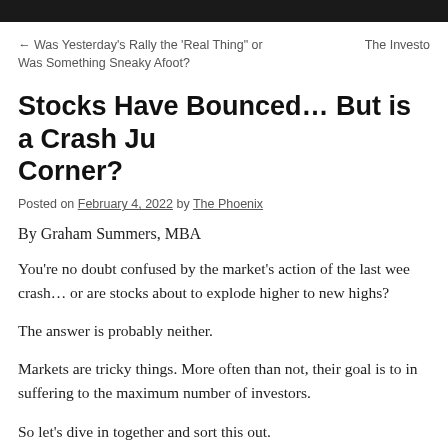← Was Yesterday's Rally the 'Real Thing' or Was Something Sneaky Afoot?
The Investo
Stocks Have Bounced… But is a Crash Just Around the Corner?
Posted on February 4, 2022 by The Phoenix
By Graham Summers, MBA
You're no doubt confused by the market's action of the last week… are stocks about to crash… or are stocks about to explode higher to new highs?
The answer is probably neither.
Markets are tricky things. More often than not, their goal is to inflict the most suffering to the maximum number of investors.
So let's dive in together and sort this out.